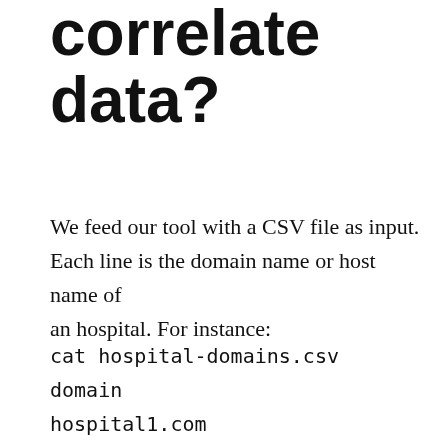correlate data?
We feed our tool with a CSV file as input. Each line is the domain name or host name of an hospital. For instance:
cat hospital-domains.csv
domain
hospital1.com
hospital2.com
The...